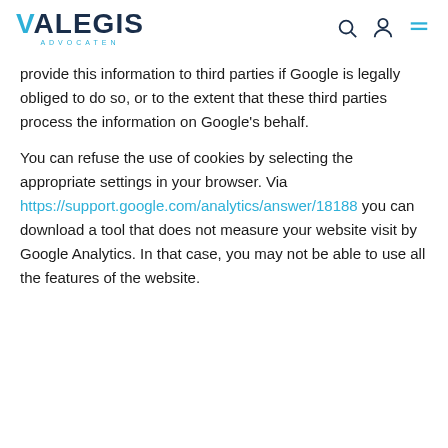VALEGIS ADVOCATEN
provide this information to third parties if Google is legally obliged to do so, or to the extent that these third parties process the information on Google's behalf.
You can refuse the use of cookies by selecting the appropriate settings in your browser. Via https://support.google.com/analytics/answer/18188 you can download a tool that does not measure your website visit by Google Analytics. In that case, you may not be able to use all the features of the website.